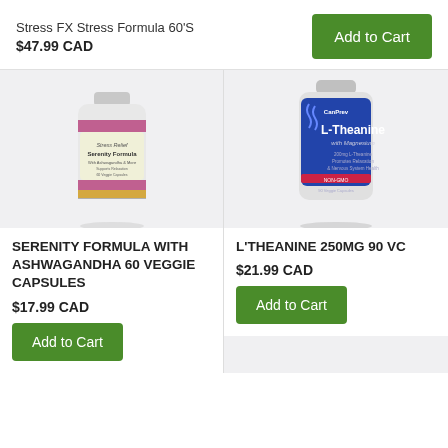Stress FX Stress Formula 60'S
$47.99 CAD
Add to Cart
[Figure (photo): Supplement bottle for Serenity Formula with Ashwagandha]
[Figure (photo): Supplement bottle for L-Theanine 250mg 90 VC with blue label]
SERENITY FORMULA WITH ASHWAGANDHA 60 VEGGIE CAPSULES
$17.99 CAD
Add to Cart
L'THEANINE 250MG 90 VC
$21.99 CAD
Add to Cart